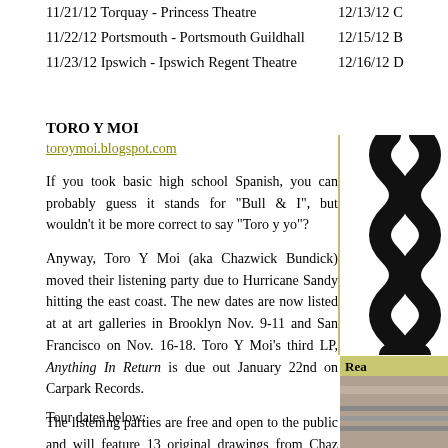11/21/12 Torquay - Princess Theatre
11/22/12 Portsmouth - Portsmouth Guildhall
11/23/12 Ipswich - Ipswich Regent Theatre
12/13/12 C...
12/15/12 B...
12/16/12 D...
TORO Y MOI
toroymoi.blogspot.com
If you took basic high school Spanish, you can probably guess it stands for "Bull & I", but wouldn't it be more correct to say "Toro y yo"?
Anyway, Toro Y Moi (aka Chazwick Bundick) moved their listening party due to Hurricane Sandy hitting the east coast. The new dates are now listed at at art galleries in Brooklyn Nov. 9-11 and San Francisco on Nov. 16-18. Toro Y Moi's third LP, Anything In Return is due out January 22nd on Carpark Records.
The listening parties are free and open to the public and will feature 13 original drawings from Chaz Bundick. Each paired with a corresponding song from the album that fans can listen to via Incase headphones.
Listen to "So Many Details", via Soundcloud:
[Figure (illustration): Decorative snake/swirl illustration in black on white background, shown in right sidebar]
Rea...
[Figure (photo): Small photo in bottom right sidebar]
Tour dates below: